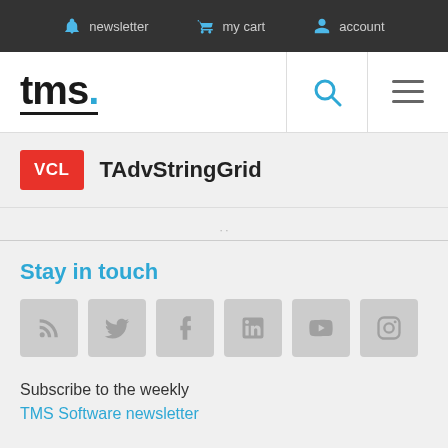newsletter  my cart  account
[Figure (logo): TMS software logo with tms. text and blue dot]
VCL  TAdvStringGrid
Stay in touch
[Figure (infographic): Social media icons: RSS, Twitter, Facebook, LinkedIn, YouTube, Instagram]
Subscribe to the weekly
TMS Software newsletter